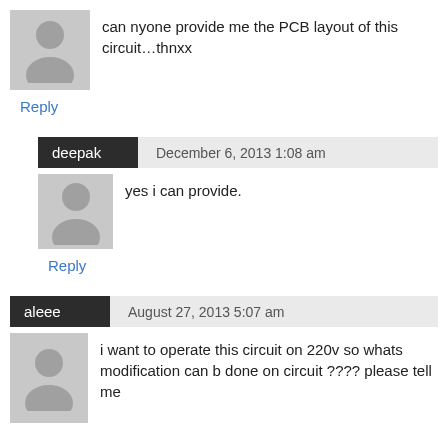can nyone provide me the PCB layout of this circuit…thnxx
Reply
deepak   December 6, 2013 1:08 am
yes i can provide.
Reply
aleee   August 27, 2013 5:07 am
i want to operate this circuit on 220v so whats modification can b done on circuit ???? please tell me